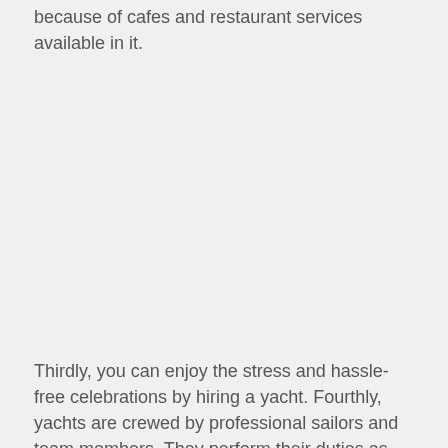because of cafes and restaurant services available in it.
Thirdly, you can enjoy the stress and hassle-free celebrations by hiring a yacht. Fourthly, yachts are crewed by professional sailors and team members. They perform their duties as maids, caretakers,